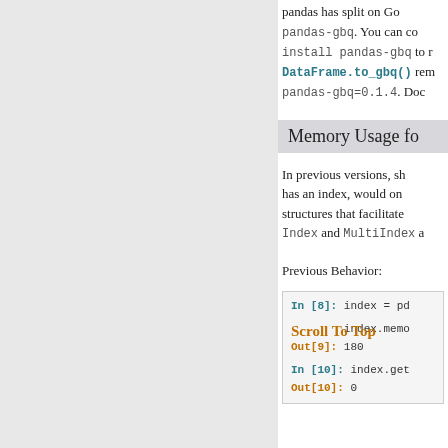pandas has split on Go pandas-gbq. You can install pandas-gbq to r DataFrame.to_gbq() rem pandas-gbq=0.1.4. Doc
Memory Usage fo
In previous versions, sh has an index, would on structures that facilitate Index and MultiIndex a
Previous Behavior:
[Figure (screenshot): Code block showing In [8]: index = pd, In [9]: index.memo Out[9]: 180, In [10]: index.get Out[10]: 0, with Scroll To Top overlay]